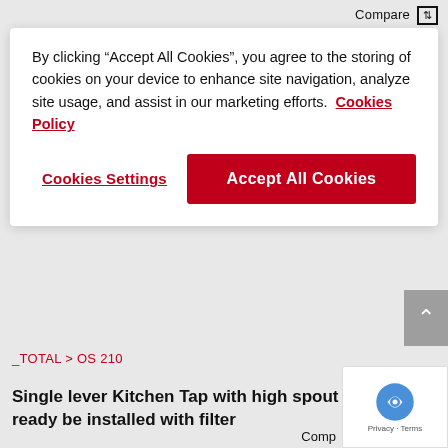Compare
By clicking “Accept All Cookies”, you agree to the storing of cookies on your device to enhance site navigation, analyze site usage, and assist in our marketing efforts.  Cookies Policy
Cookies Settings
Accept All Cookies
_TOTAL > OS 210
Single lever Kitchen Tap with high spout ready be installed with filter
Comp